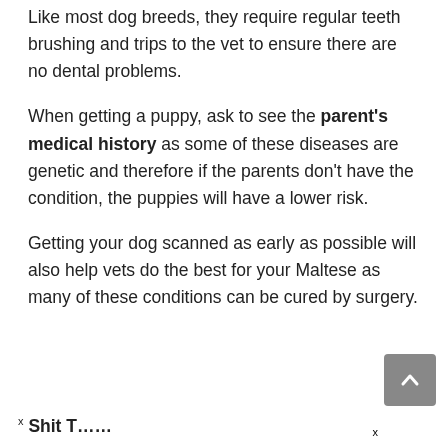Like most dog breeds, they require regular teeth brushing and trips to the vet to ensure there are no dental problems.
When getting a puppy, ask to see the parent's medical history as some of these diseases are genetic and therefore if the parents don't have the condition, the puppies will have a lower risk.
Getting your dog scanned as early as possible will also help vets do the best for your Maltese as many of these conditions can be cured by surgery.